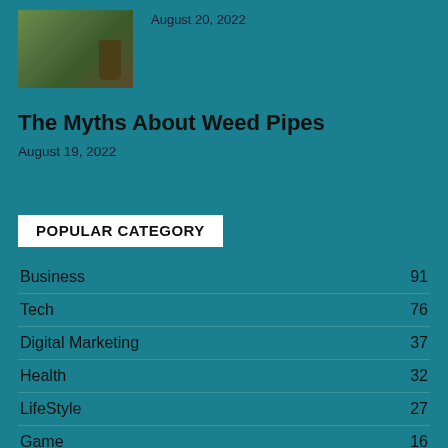[Figure (photo): Photo of hemp seeds and cannabis oil bottle on wooden surface]
August 20, 2022
The Myths About Weed Pipes
August 19, 2022
POPULAR CATEGORY
Business 91
Tech 76
Digital Marketing 37
Health 32
LifeStyle 27
Game 16
Entertainment 14